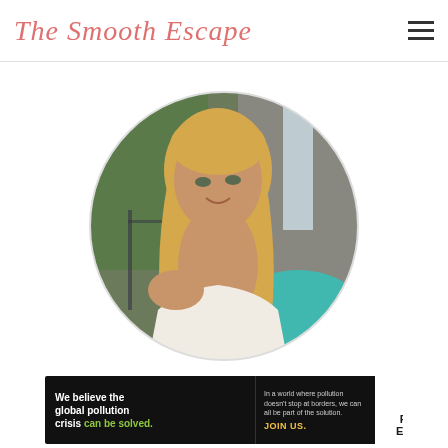The Smooth Escape
[Figure (photo): Circular profile photo of a blonde woman smiling, photographed outdoors in front of a waterfall with turquoise water and rocky cliffs with green vegetation. She is wearing a white top and looking over her shoulder at the camera.]
[Figure (infographic): Advertisement banner for Pure Earth. Black background left section reads: 'We believe the global pollution crisis can be solved.' with 'can be solved.' in green. Middle section reads: 'In a world where pollution doesn't stop at borders, we can all be part of the solution. JOIN US.' in lighter text with JOIN US in yellow. Right white section shows Pure Earth logo with a diamond/arrow shaped icon and text PURE EARTH in bold black.]